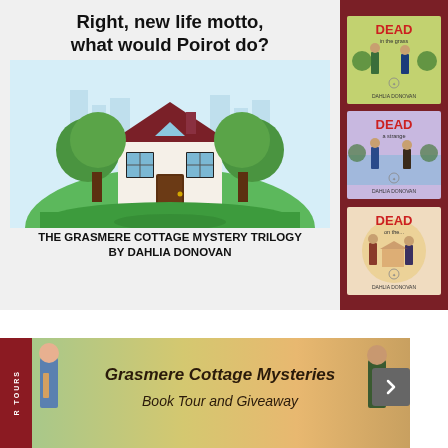[Figure (illustration): Main promotional banner for The Grasmere Cottage Mystery Trilogy by Dahlia Donovan. Contains bold black text 'Right, new life motto, what would Poirot do?' at the top, a cartoon illustration of a house with trees and city skyline in the center, and the text 'THE GRASMERE COTTAGE MYSTERY TRILOGY BY DAHLIA DONOVAN' at the bottom. Light blue/white background.]
[Figure (illustration): Sidebar showing three book covers from the Dead series by Dahlia Donovan, displayed vertically on a dark red/maroon background. Each cover shows 'DEAD' in bold text with a subtitle and two illustrated characters.]
[Figure (illustration): Bottom banner for Grasmere Cottage Mysteries Book Tour and Giveaway. Shows illustrated characters on left and right sides, colorful background with handwritten-style text 'Grasmere Cottage Mysteries' and 'Book Tour and Giveaway'. Has a dark red sidebar on the left with text 'R TOURS' and a grey arrow button on the right.]